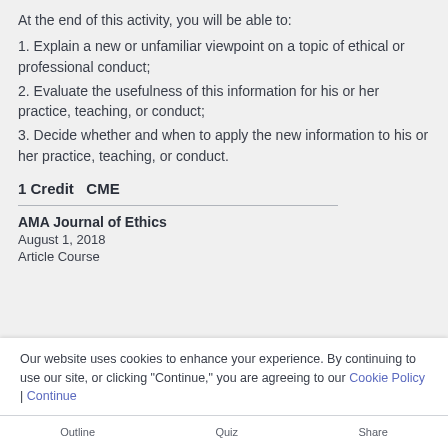At the end of this activity, you will be able to:
1. Explain a new or unfamiliar viewpoint on a topic of ethical or professional conduct;
2. Evaluate the usefulness of this information for his or her practice, teaching, or conduct;
3. Decide whether and when to apply the new information to his or her practice, teaching, or conduct.
1 Credit  CME
AMA Journal of Ethics
August 1, 2018
Article Course
Our website uses cookies to enhance your experience. By continuing to use our site, or clicking "Continue," you are agreeing to our Cookie Policy | Continue
Outline  Quiz  Share